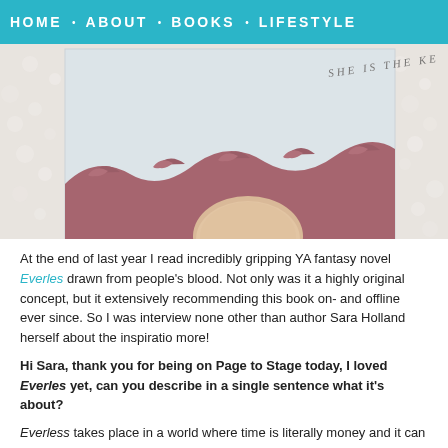HOME · ABOUT · BOOKS · LIFESTYLE
[Figure (photo): A hand holding a book whose cover shows 'SHE IS THE KEY' text and a decorative dark red wave illustration on a light blue/grey background, photographed on a white textured surface.]
At the end of last year I read incredibly gripping YA fantasy novel Everless, drawn from people's blood. Not only was it a highly original concept, but it extensively recommending this book on- and offline ever since. So I was interview none other than author Sara Holland herself about the inspiratio more!
Hi Sara, thank you for being on Page to Stage today, I loved Everless yet, can you describe in a single sentence what it's about?
Everless takes place in a world where time is literally money and it can be of this the main character Jules to save her dying father goes to this Dow she discovers some dark secrets, makes new friends, there's a little bit of
Blood containing the power of time and using it as a currency is a v